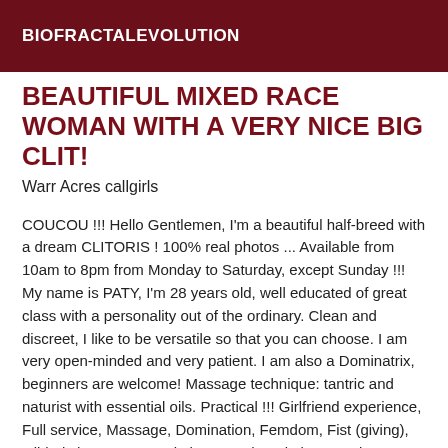BIOFRACTALEVOLUTION
BEAUTIFUL MIXED RACE WOMAN WITH A VERY NICE BIG CLIT!
Warr Acres callgirls
COUCOU !!! Hello Gentlemen, I'm a beautiful half-breed with a dream CLITORIS ! 100% real photos ... Available from 10am to 8pm from Monday to Saturday, except Sunday !!! My name is PATY, I'm 28 years old, well educated of great class with a personality out of the ordinary. Clean and discreet, I like to be versatile so that you can choose. I am very open-minded and very patient. I am also a Dominatrix, beginners are welcome! Massage technique: tantric and naturist with essential oils. Practical !!! Girlfriend experience, Full service, Massage, Domination, Femdom, Fist (giving), Gilded shower, Latex clothes, Leather clothes, Anal sex, French kissing, Anilingus (giving), Anilingus (receiving), Sex toys, Finger, Normal sex, Cum on face, bisexual,